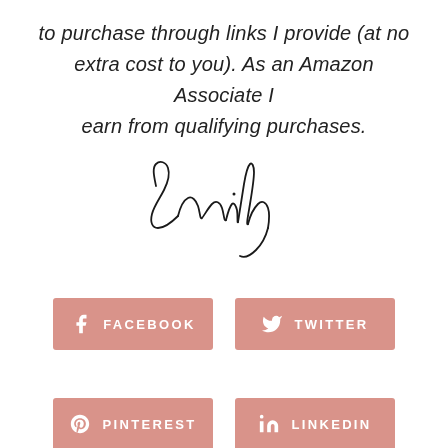to purchase through links I provide (at no extra cost to you). As an Amazon Associate I earn from qualifying purchases.
[Figure (illustration): Handwritten cursive signature reading 'Emily']
FACEBOOK
TWITTER
PINTEREST
LINKEDIN